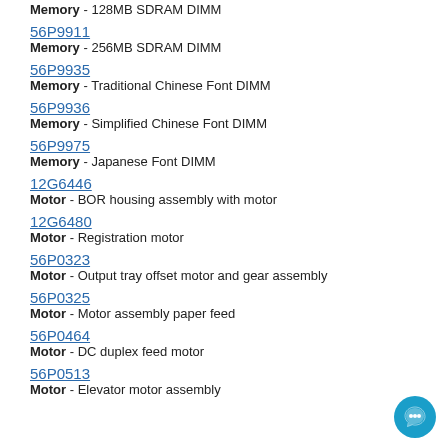Memory - 128MB SDRAM DIMM
56P9911
Memory - 256MB SDRAM DIMM
56P9935
Memory - Traditional Chinese Font DIMM
56P9936
Memory - Simplified Chinese Font DIMM
56P9975
Memory - Japanese Font DIMM
12G6446
Motor - BOR housing assembly with motor
12G6480
Motor - Registration motor
56P0323
Motor - Output tray offset motor and gear assembly
56P0325
Motor - Motor assembly paper feed
56P0464
Motor - DC duplex feed motor
56P0513
Motor - Elevator motor assembly